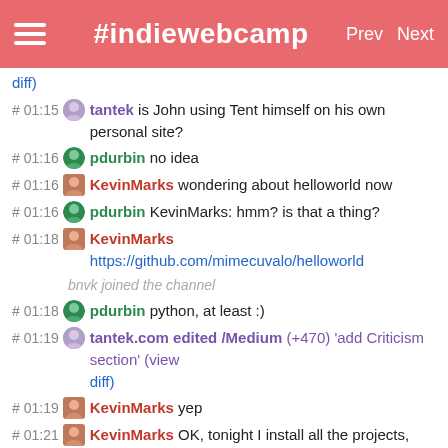#indiewebcamp  Prev  Next
diff)
# 01:15 tantek is John using Tent himself on his own personal site?
# 01:16 pdurbin no idea
# 01:16 KevinMarks wondering about helloworld now
# 01:16 pdurbin KevinMarks: hmm? is that a thing?
# 01:18 KevinMarks https://github.com/mimecuvalo/helloworld
bnvk joined the channel
# 01:18 pdurbin python, at least :)
# 01:19 tantek.com edited /Medium (+470) 'add Criticism section' (view diff)
# 01:19 KevinMarks yep
# 01:21 KevinMarks OK, tonight I install all the projects, and see which one I like
# 01:21 pdurbin +1
# 01:21 KevinMarks or throw my hands up and write my own (which is more indie?)